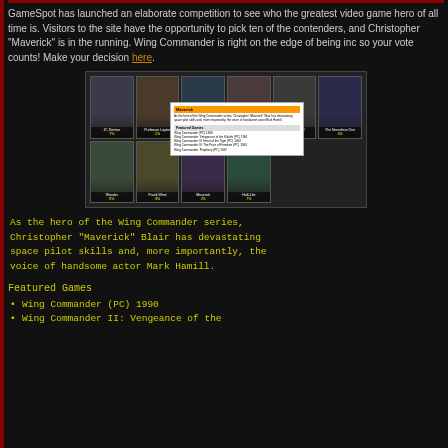GameSpot has launched an elaborate competition to see who the greatest video game hero of all time is. Visitors to the site have the opportunity to pick ten of the contenders, and Christopher "Maverick" is in the running. Wing Commander is right on the edge of being inc so your vote counts! Make your decision here.
[Figure (screenshot): Screenshot of GameSpot greatest video game hero competition page showing a grid of hero cards including JC Denton (7%), Professor Layton (1%), The Stranger, Larry Buguld (2%), The Nameless One (5%), Wander (0%), Frank West (3%), Maverick (2%), Half-Life (7%), with a popup overlay showing Maverick's profile and featured games list.]
As the hero of the Wing Commander series, Christopher "Maverick" Blair has devastating space pilot skills and, more importantly, the voice of handsome actor Mark Hamill.
Featured Games
Wing Commander (PC) 1990
Wing Commander II: Vengeance of the